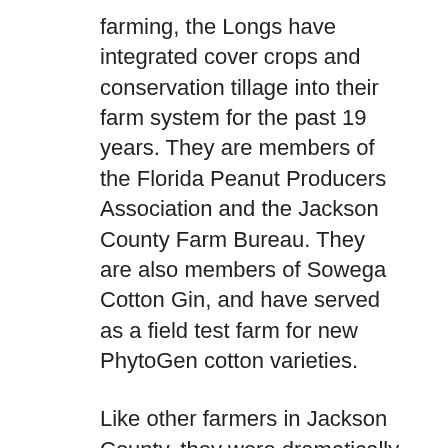farming, the Longs have integrated cover crops and conservation tillage into their farm system for the past 19 years. They are members of the Florida Peanut Producers Association and the Jackson County Farm Bureau. They are also members of Sowega Cotton Gin, and have served as a field test farm for new PhytoGen cotton varieties.
Like other farmers in Jackson County, they were dramatically impacted by Hurricane Michael in 2018. Just one short month later they also went through a devastating health scare with Chris. They are truly thankful for the prayers and support from their friends, families and their fellow farmers that have helped them through this difficult